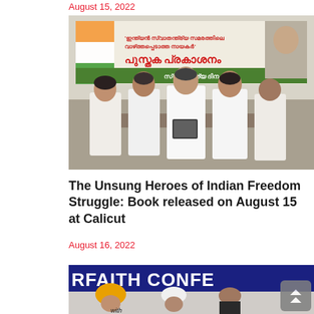August 15, 2022
[Figure (photo): Group of men in white shirts at a book release event. A banner in Malayalam is visible in the background with red and green text. Five men stand at the front, one holding a book being presented to another.]
The Unsung Heroes of Indian Freedom Struggle: Book released on August 15 at Calicut
August 16, 2022
[Figure (photo): Partial view of an INTERFAITH CONFERENCE banner in blue and white. Several men are seated at a table including one wearing a yellow turban and one wearing a white taqiyah.]